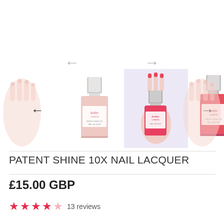[Figure (photo): Product image gallery showing nail lacquer bottles and hand swatches with navigation arrows. Left: partial hand with nails, Left-center: light pink butter nail lacquer bottle, Center: highlighted lavender background with hand holding coral butter nail lacquer bottle, Right-center: coral butter nail lacquer bottle, Right: partial hand with nails.]
PATENT SHINE 10X NAIL LACQUER
£15.00 GBP
★★★★☆ 13 reviews